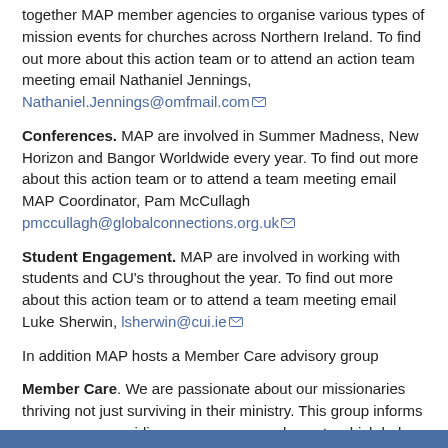together MAP member agencies to organise various types of mission events for churches across Northern Ireland. To find out more about this action team or to attend an action team meeting email Nathaniel Jennings, Nathaniel.Jennings@omfmail.com
Conferences. MAP are involved in Summer Madness, New Horizon and Bangor Worldwide every year. To find out more about this action team or to attend a team meeting email MAP Coordinator, Pam McCullagh pmccullagh@globalconnections.org.uk
Student Engagement. MAP are involved in working with students and CU's throughout the year. To find out more about this action team or to attend a team meeting email Luke Sherwin, lsherwin@cui.ie
In addition MAP hosts a Member Care advisory group
Member Care. We are passionate about our missionaries thriving not just surviving in their ministry. This group informs our response, guiding on resources and events which help agencies and churches to provide quality support to those who serve in mission. To find out more contact MAP Coordinator, Pam McCullagh pmccullagh@globalconnections.org.uk